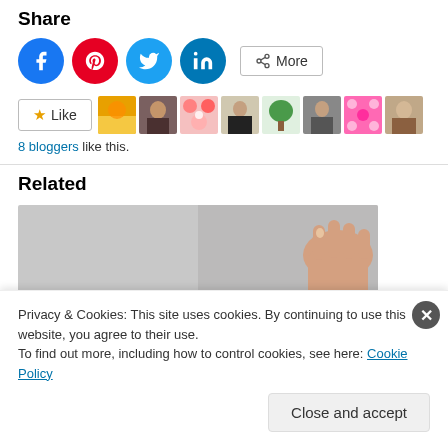Share
[Figure (illustration): Social share buttons: Facebook (blue circle), Pinterest (red circle), Twitter (light blue circle), LinkedIn (blue circle), and a 'More' button with share icon]
[Figure (illustration): Like button with star icon, followed by 8 blogger avatar thumbnails]
8 bloggers like this.
Related
[Figure (photo): A hand holding a wooden block with the number 7, against a gray background]
Privacy & Cookies: This site uses cookies. By continuing to use this website, you agree to their use.
To find out more, including how to control cookies, see here: Cookie Policy